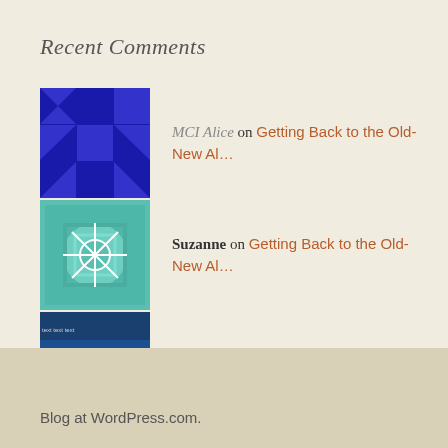Recent Comments
MCI Alice on Getting Back to the Old-New Al…
Suzanne on Getting Back to the Old-New Al…
tehachap on Getting Back to the Old-New Al…
MCI Alice on Covid with Alzheimer's…
MCI Alice on Covid with Alzheimer's…
Blog at WordPress.com.